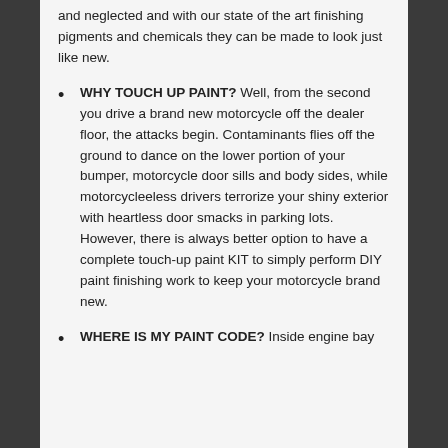and neglected and with our state of the art finishing pigments and chemicals they can be made to look just like new.
WHY TOUCH UP PAINT? Well, from the second you drive a brand new motorcycle off the dealer floor, the attacks begin. Contaminants flies off the ground to dance on the lower portion of your bumper, motorcycle door sills and body sides, while motorcycleeless drivers terrorize your shiny exterior with heartless door smacks in parking lots. However, there is always better option to have a complete touch-up paint KIT to simply perform DIY paint finishing work to keep your motorcycle brand new.
WHERE IS MY PAINT CODE? Inside engine bay